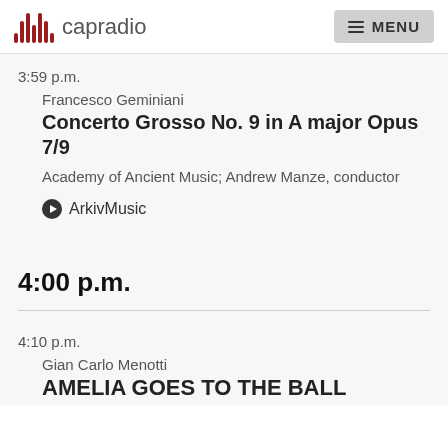capradio  MENU
3:59 p.m.
Francesco Geminiani
Concerto Grosso No. 9 in A major Opus 7/9
Academy of Ancient Music; Andrew Manze, conductor
ArkivMusic
4:00 p.m.
4:10 p.m.
Gian Carlo Menotti
AMELIA GOES TO THE BALL